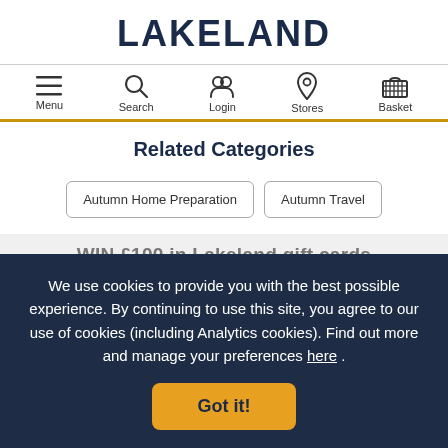LAKELAND
[Figure (screenshot): Navigation bar with icons for Menu (hamburger), Search (magnifying glass), Login (person), Stores (location pin), Basket (basket icon)]
Related Categories
Autumn Home Preparation
Autumn Travel
WIN £100 in Lakeland gift cards
We use cookies to provide you with the best possible experience. By continuing to use this site, you agree to our use of cookies (including Analytics cookies). Find out more and manage your preferences here .
Got it!